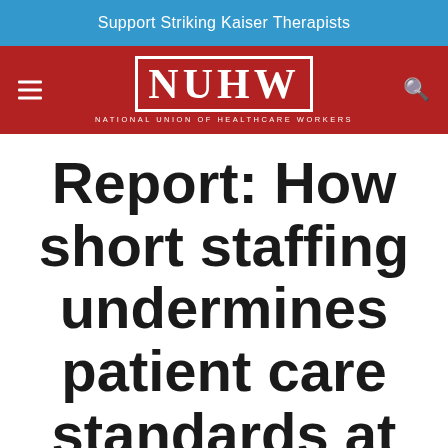Support Striking Kaiser Therapists
[Figure (logo): NUHW - National Union of Healthcare Workers logo with red background, white bordered box containing large white letters NUHW and subtitle text]
Report: How short staffing undermines patient care standards at Sonoma County's